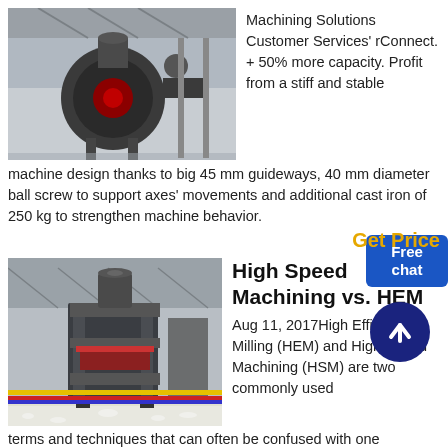[Figure (photo): Industrial machining equipment in a large factory/warehouse setting, showing a large black centrifugal fan or blower machine on a reflective floor.]
Machining Solutions Customer Services' rConnect. + 50% more capacity. Profit from a stiff and stable machine design thanks to big 45 mm guideways, 40 mm diameter ball screw to support axes' movements and additional cast iron of 250 kg to strengthen machine behavior.
Get Price
[Figure (photo): Large industrial press or stamping machine mounted on a frame structure inside a large factory hall, surrounded by white pellets/granules on the floor.]
High Speed Machining vs. HEM
Aug 11, 2017High Efficiency Milling (HEM) and High Speed Machining (HSM) are two commonly used terms and techniques that can often be confused with one